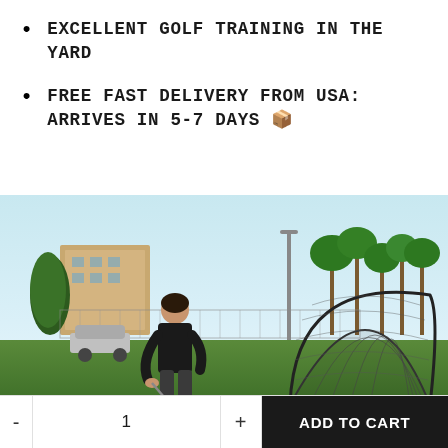EXCELLENT GOLF TRAINING IN THE YARD
FREE FAST DELIVERY FROM USA: ARRIVES IN 5-7 DAYS 🚚
[Figure (photo): Person practicing golf swing at outdoor golf net with target on a green field, palm trees and building in background, clear sky]
- 1 + ADD TO CART